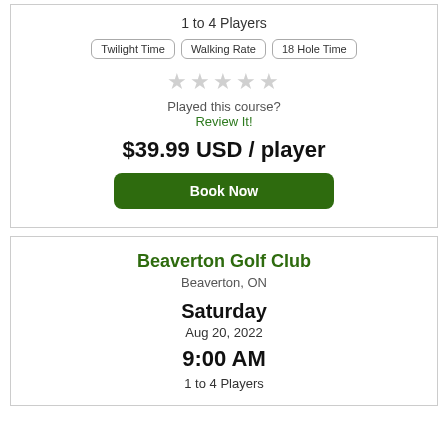1 to 4 Players
Twilight Time
Walking Rate
18 Hole Time
[Figure (other): Five empty star rating icons]
Played this course?
Review It!
$39.99 USD / player
Book Now
Beaverton Golf Club
Beaverton, ON
Saturday
Aug 20, 2022
9:00 AM
1 to 4 Players